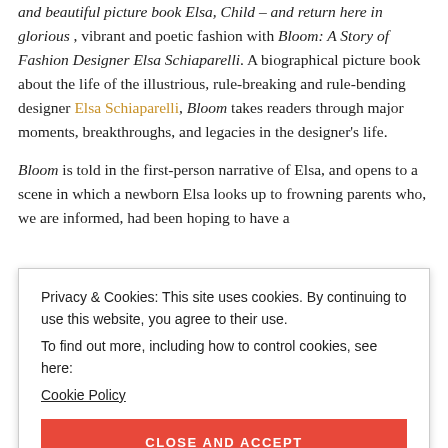and beautiful picture book Elsa, Child – and return here in glorious , vibrant and poetic fashion with Bloom: A Story of Fashion Designer Elsa Schiaparelli. A biographical picture book about the life of the illustrious, rule-breaking and rule-bending designer Elsa Schiaparelli, Bloom takes readers through major moments, breakthroughs, and legacies in the designer's life.
Bloom is told in the first-person narrative of Elsa, and opens to a scene in which a newborn Elsa looks up to frowning parents who, we are informed, had been hoping to have a
Privacy & Cookies: This site uses cookies. By continuing to use this website, you agree to their use.
To find out more, including how to control cookies, see here:
Cookie Policy
CLOSE AND ACCEPT